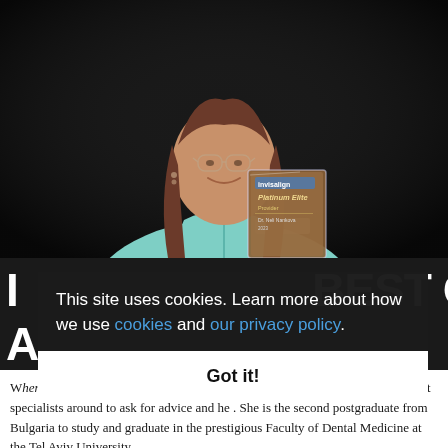[Figure (photo): A smiling woman with glasses and long brown hair wearing a light teal/mint colored medical scrubs top, holding a glass/crystal award plaque. The plaque appears to be an Invisalign Platinum Elite Provider award. She is photographed against a dark background.]
BEST OF
When beautiful and healthy smiles is concerned, Dr Neli Dankova is one of the best specialists around to ask for advice and help. She is the second postgraduate from Bulgaria to study and graduate in the prestigious Faculty of Dental Medicine at the Tel Aviv University.
This site uses cookies. Learn more about how we use cookies and our privacy policy.
Got it!